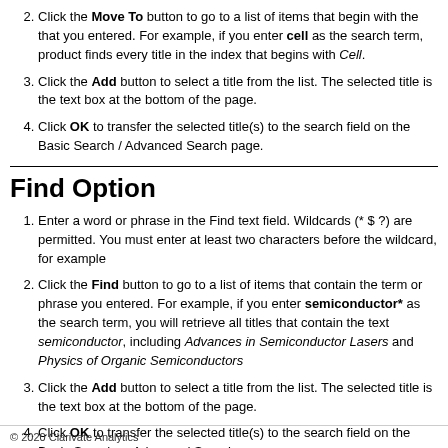2. Click the Move To button to go to a list of items that begin with the that you entered. For example, if you enter cell as the search term, product finds every title in the index that begins with Cell.
3. Click the Add button to select a title from the list. The selected title is the text box at the bottom of the page.
4. Click OK to transfer the selected title(s) to the search field on the Basic Search / Advanced Search page.
Find Option
1. Enter a word or phrase in the Find text field. Wildcards (* $ ?) are permitted. You must enter at least two characters before the wildcard, for example
2. Click the Find button to go to a list of items that contain the term or phrase you entered. For example, if you enter semiconductor* as the search term, you will retrieve all titles that contain the text semiconductor, including Advances in Semiconductor Lasers and Physics of Organic Semiconductors
3. Click the Add button to select a title from the list. The selected title is the text box at the bottom of the page.
4. Click OK to transfer the selected title(s) to the search field on the Basic Search or Advanced Search page.
© 2020 Clarivate Analytics